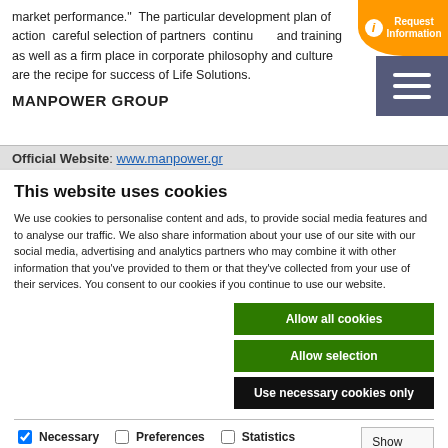market performance.”  The particular development plan of action  careful selection of partners  continuous and training  as well as a firm place in corporate philosophy and culture are the recipe for success of Life Solutions.
MANPOWER GROUP
Official Website: www.manpower.gr
This website uses cookies
We use cookies to personalise content and ads, to provide social media features and to analyse our traffic. We also share information about your use of our site with our social media, advertising and analytics partners who may combine it with other information that you’ve provided to them or that they’ve collected from your use of their services. You consent to our cookies if you continue to use our website.
Allow all cookies
Allow selection
Use necessary cookies only
Necessary  Preferences  Statistics  Marketing  Show details